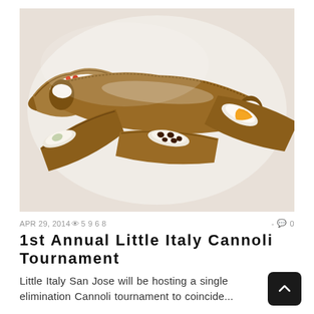[Figure (photo): A plate of various Italian cannoli pastries filled with cream and toppings including red berries, chocolate chips, and orange peel, displayed on a white plate]
APR 29, 2014 👁 5968   - 🗨 0
1st Annual Little Italy Cannoli Tournament
Little Italy San Jose will be hosting a single elimination Cannoli tournament to coincide...